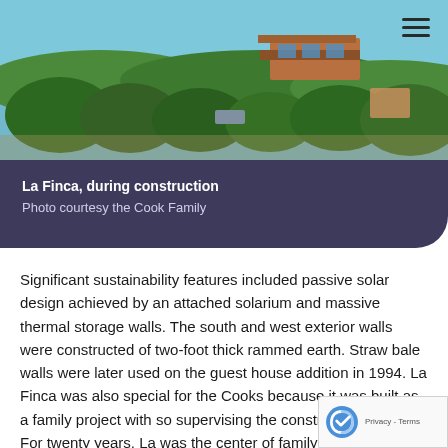[Figure (photo): Aerial/distant view of La Finca building under construction, surrounded by trees and water in background, with hamburger menu icon in top right corner]
La Finca, during construction
Photo courtesy the Cook Family
Significant sustainability features included passive solar design achieved by an attached solarium and massive thermal storage walls. The south and west exterior walls were constructed of two-foot thick rammed earth. Straw bale walls were later used on the guest house addition in 1994. La Finca was also special for the Cooks because it was built as a family project with so supervising the construction in 1987. For twenty years, La was the center of family life attracting friends from aroun world.